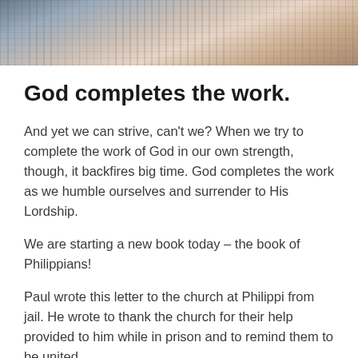[Figure (photo): Partial photo of a woman wearing a floral blouse, cropped to show upper body, with a blurred background suggesting an outdoor or indoor setting.]
God completes the work.
And yet we can strive, can't we? When we try to complete the work of God in our own strength, though, it backfires big time. God completes the work as we humble ourselves and surrender to His Lordship.
We are starting a new book today – the book of Philippians!
Paul wrote this letter to the church at Philippi from jail. He wrote to thank the church for their help provided to him while in prison and to remind them to be united.